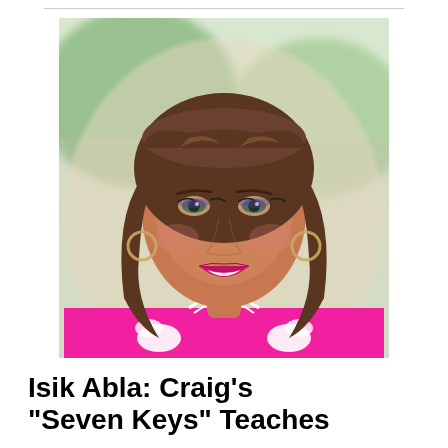[Figure (photo): Portrait photo of a woman with brown layered hair and bangs, wearing a pink top with white embroidery, smiling, with a blurred outdoor background.]
Isik Abla: Craig's "Seven Keys" Teaches